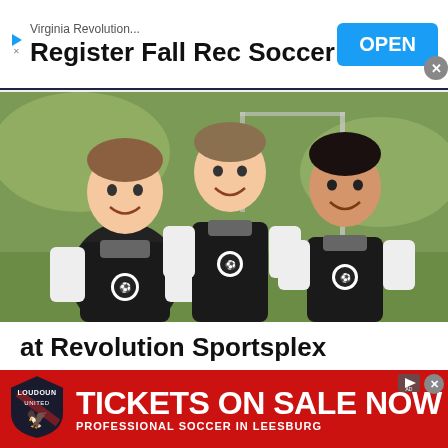[Figure (screenshot): Top advertisement banner: triangle play icon, small text 'Virginia Revolution...', large bold text 'Register Fall Rec Soccer', blue 'OPEN' button on the right, close X button]
[Figure (photo): Three young boys wearing black and white soccer uniforms with soccer ball logo patches, smiling and posing together on a soccer field with a goal net in the background]
at Revolution Sportsplex
Ad  Virginia Revolution...
[Figure (screenshot): Bottom advertisement banner in red: Loudoun United FC shield logo on the left, large bold white text 'TICKETS ON SALE NOW', smaller text 'PROFESSIONAL SOCCER IN LEESBURG', close X and ad icon buttons in top right]